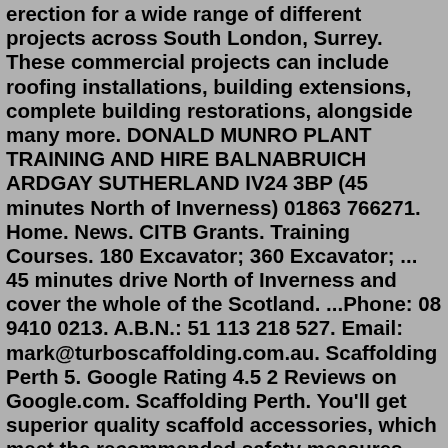erection for a wide range of different projects across South London, Surrey. These commercial projects can include roofing installations, building extensions, complete building restorations, alongside many more. DONALD MUNRO PLANT TRAINING AND HIRE BALNABRUICH ARDGAY SUTHERLAND IV24 3BP (45 minutes North of Inverness) 01863 766271. Home. News. CITB Grants. Training Courses. 180 Excavator; 360 Excavator; ... 45 minutes drive North of Inverness and cover the whole of the Scotland. ...Phone: 08 9410 0213. A.B.N.: 51 113 218 527. Email: mark@turboscaffolding.com.au. Scaffolding Perth 5. Google Rating 4.5 2 Reviews on Google.com. Scaffolding Perth. You'll get superior quality scaffold accessories, which meet the recommended safety measures. Price competitive. Fast and friendly customer care.DIY Scaffold Tower Rent Inverness We offer fibreglass/grp, aluminium, liftshaft scaffolding towers for rent. Offering scaffold towers in Inverness and all over Hertfordshire, Greater london and Essex. Access towers, joining decks & even more, our wide